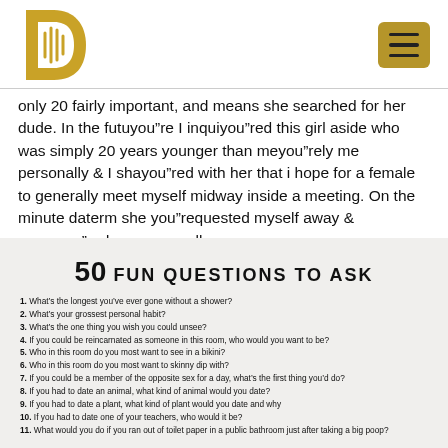[Figure (logo): Gold stylized letter D with microphone logo]
only 20 fairly important, and means she searched for her dude. In the futuyou”re I inquiyou”red this girl aside who was simply 20 years younger than meyou”rely me personally & I shayou”red with her that i hope for a female to generally meet myself midway inside a meeting. On the minute daterm she you”requested myself away & procuyou”red me personally.
[Figure (infographic): 50 Fun Questions to Ask list on beige background with numbered questions 1-11 visible]
1. What’s the longest you’ve ever gone without a shower?
2. What’s your grossest personal habit?
3. What’s the one thing you wish you could unsee?
4. If you could be reincarnated as someone in this room, who would you want to be?
5. Who in this room do you most want to see in a bikini?
6. Who in this room do you most want to skinny dip with?
7. If you could be a member of the opposite sex for a day, what’s the first thing you’d do?
8. If you had to date an animal, what kind of animal would you date?
9. If you had to date a plant, what kind of plant would you date and why
10. If you had to date one of your teachers, who would it be?
11. What would you do if you ran out of toilet paper in a public bathroom just after taking a big poop?